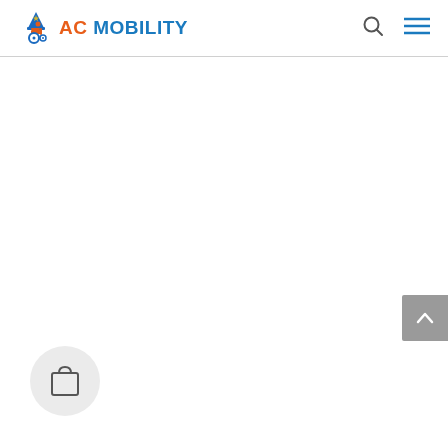[Figure (logo): AC Mobility logo with pixel-art wheelchair icon and brand name in orange and blue]
[Figure (other): Search icon (magnifying glass) in the header navigation]
[Figure (other): Hamburger menu icon (three horizontal lines) in the header navigation]
[Figure (other): Scroll-to-top button (up chevron) on the right side, gray background]
[Figure (other): Shopping bag/cart circular button at bottom left]